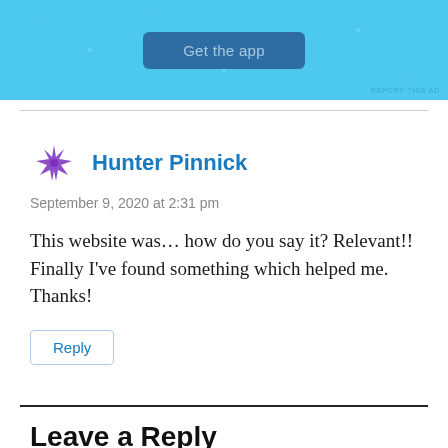[Figure (screenshot): Light blue advertisement banner with a dark blue 'Get the app' button and sparkle/star decorations]
REPORT THIS AD
Hunter Pinnick
September 9, 2020 at 2:31 pm
This website was… how do you say it? Relevant!! Finally I've found something which helped me. Thanks!
Reply
Leave a Reply